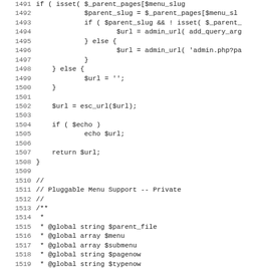Source code listing, lines 1491-1523, PHP code for WordPress admin menu URL resolution and pluggable menu support documentation block.